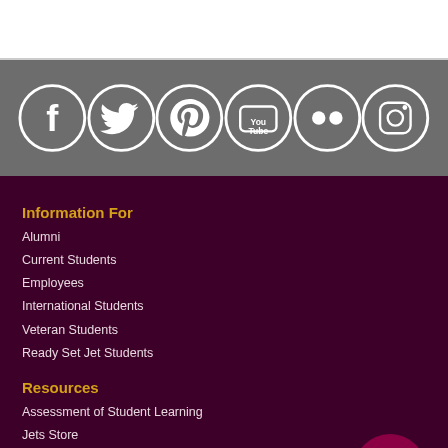[Figure (other): White top bar section of a webpage]
[Figure (infographic): Social media icons row: Facebook, Twitter, Pinterest, YouTube, Flickr, Instagram — white circle icons on grey background]
Information For
Alumni
Current Students
Employees
International Students
Veteran Students
Ready Set Jet Students
Resources
Assessment of Student Learning
Jets Store
Campus Safety Info and Resources
[Figure (other): Chat bubble icon button in maroon circle at bottom right]